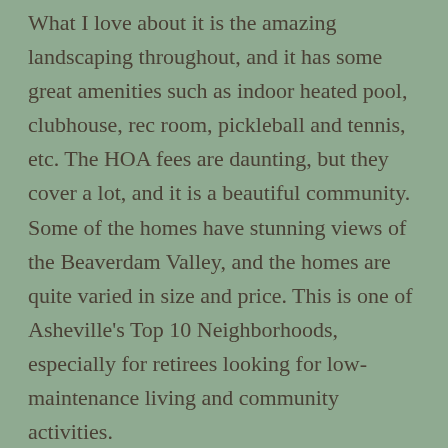What I love about it is the amazing landscaping throughout, and it has some great amenities such as indoor heated pool, clubhouse, rec room, pickleball and tennis, etc. The HOA fees are daunting, but they cover a lot, and it is a beautiful community.  Some of the homes have stunning views of the Beaverdam Valley, and the homes are quite varied in size and price. This is one of Asheville's Top 10 Neighborhoods, especially for retirees looking for low-maintenance living and community activities.
10. Ballantree